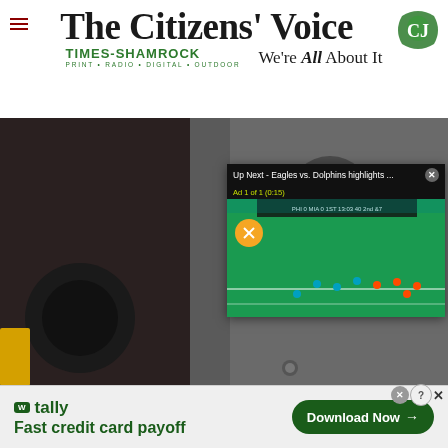The Citizens' Voice
TIMES-SHAMROCK PRINT • RADIO • DIGITAL • OUTDOOR We're All About It
[Figure (photo): Close-up of a body camera device, with a video overlay showing a football game (Eagles vs. Dolphins highlights). The video overlay has text: 'Up Next - Eagles vs. Dolphins highlights ...' and 'Ad 1 of 1 (0:15)']
[Figure (screenshot): Advertisement banner for Tally app at bottom of page. Shows 'tally' brand name and 'Fast credit card payoff' tagline with a 'Download Now' button.]